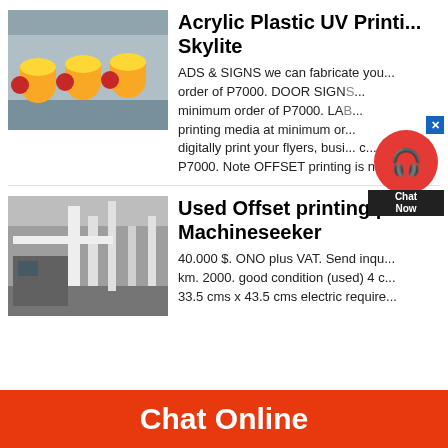[Figure (photo): Industrial yellow cylindrical machinery/rollers in a factory warehouse]
Acrylic Plastic UV Printing - Skylite
ADS & SIGNS we can fabricate your order of P7000. DOOR SIGNS minimum order of P7000. LAB printing media at minimum order digitally print your flyers, busi P7000. Note OFFSET printing is no
[Figure (photo): Industrial machinery/equipment in a factory setting, grey metallic pipes and structures]
Used Offset printing pre... Machineseeker
40.000 $. ONO plus VAT. Send inqu km. 2000. good condition (used) 4 c 33.5 cms x 43.5 cms electric require
Chat Online